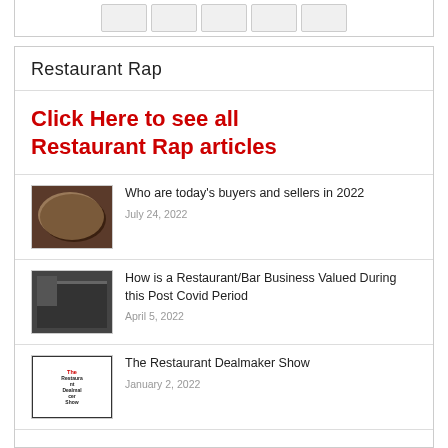[Figure (other): Top partial box with 5 small thumbnail placeholders]
Restaurant Rap
Click Here to see all Restaurant Rap articles
[Figure (photo): Overhead view of food/dishes on dark table]
Who are today's buyers and sellers in 2022
July 24, 2022
[Figure (photo): Black and white photo of restaurant/bar interior]
How is a Restaurant/Bar Business Valued During this Post Covid Period
April 5, 2022
[Figure (logo): The Restaurant Dealmaker Show logo/cover image]
The Restaurant Dealmaker Show
January 2, 2022